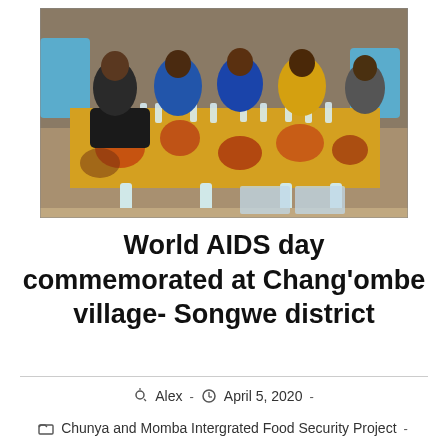[Figure (photo): Group of people seated around a table with colorful African fabric tablecloth, with water bottles on the table, at an outdoor community event. Blue plastic chairs visible in background.]
World AIDS day commemorated at Chang'ombe village- Songwe district
Alex  -  April 5, 2020  -
Chunya and Momba Intergrated Food Security Project  -